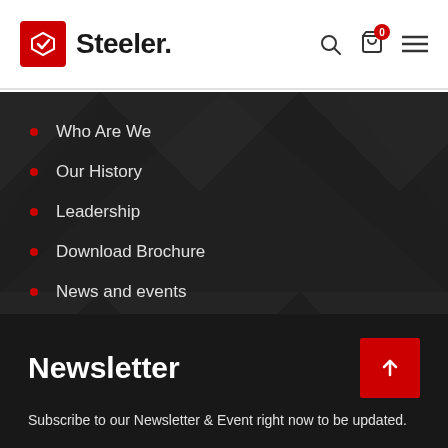Steeler.
Who Are We
Our History
Leadership
Download Brochure
News and events
Use application
Newsletter
Subscribe to our Newsletter & Event right now to be updated.